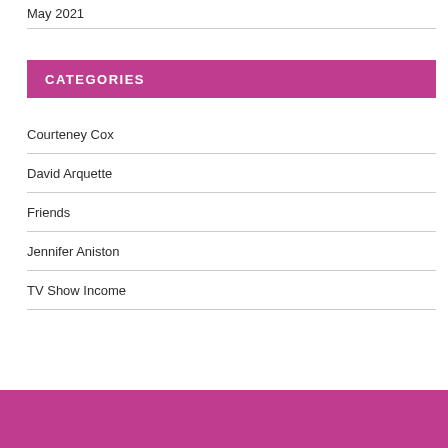May 2021
CATEGORIES
Courteney Cox
David Arquette
Friends
Jennifer Aniston
TV Show Income